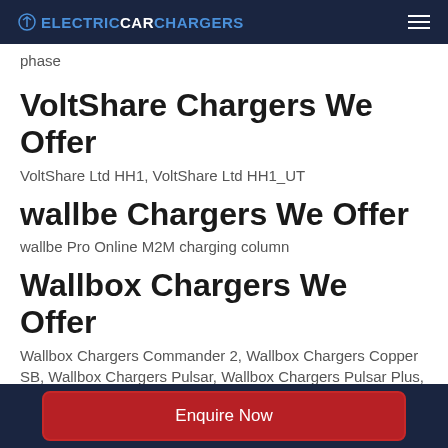ELECTRICCARCHARGERS
phase
VoltShare Chargers We Offer
VoltShare Ltd HH1, VoltShare Ltd HH1_UT
wallbe Chargers We Offer
wallbe Pro Online M2M charging column
Wallbox Chargers We Offer
Wallbox Chargers Commander 2, Wallbox Chargers Copper SB, Wallbox Chargers Pulsar, Wallbox Chargers Pulsar Plus, Wallbox Chargers
Enquire Now